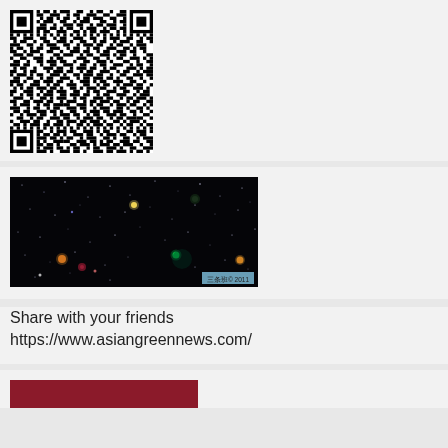[Figure (other): QR code image — black and white QR code pattern]
[Figure (photo): Space/astronomy photo showing stars and colored dots (planets or celestial objects) against a dark background. Watermark reads: 三条班© 2011]
Share with your friends
https://www.asiangreennews.com/
[Figure (other): Red/dark crimson banner at bottom of page, partially visible]